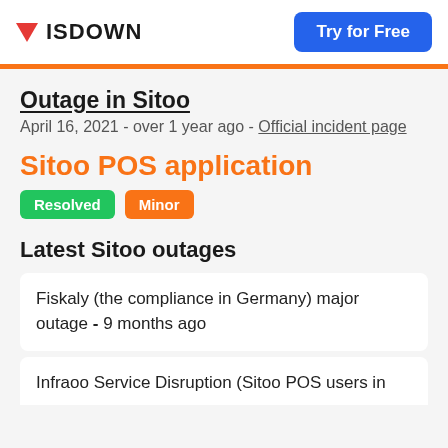ISDOWN | Try for Free
Outage in Sitoo
April 16, 2021 - over 1 year ago - Official incident page
Sitoo POS application
Resolved | Minor
Latest Sitoo outages
Fiskaly (the compliance in Germany) major outage - 9 months ago
Infraoo Service Disruption (Sitoo POS users in